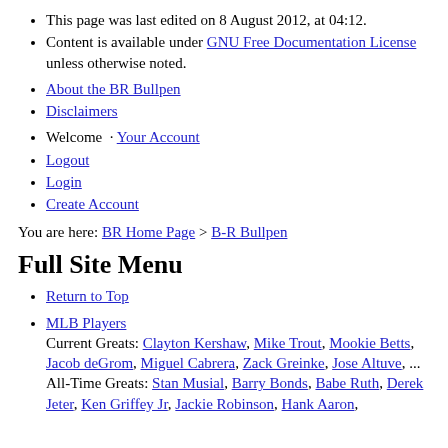This page was last edited on 8 August 2012, at 04:12.
Content is available under GNU Free Documentation License unless otherwise noted.
About the BR Bullpen
Disclaimers
Welcome · Your Account
Logout
Login
Create Account
You are here: BR Home Page > B-R Bullpen
Full Site Menu
Return to Top
MLB Players
Current Greats: Clayton Kershaw, Mike Trout, Mookie Betts, Jacob deGrom, Miguel Cabrera, Zack Greinke, Jose Altuve, ...
All-Time Greats: Stan Musial, Barry Bonds, Babe Ruth, Derek Jeter, Ken Griffey Jr, Jackie Robinson, Hank Aaron,